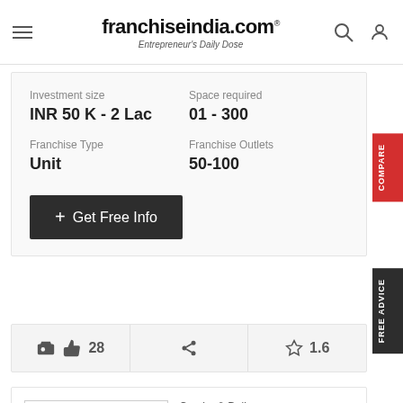franchiseindia.com® Entrepreneur's Daily Dose
Investment size
INR 50 K - 2 Lac
Space required
01 - 300
Franchise Type
Unit
Franchise Outlets
50-100
+ Get Free Info
28
1.6
[Figure (logo): Delhivery brand logo with red stylized E]
Courier & Delivery
Delhivery